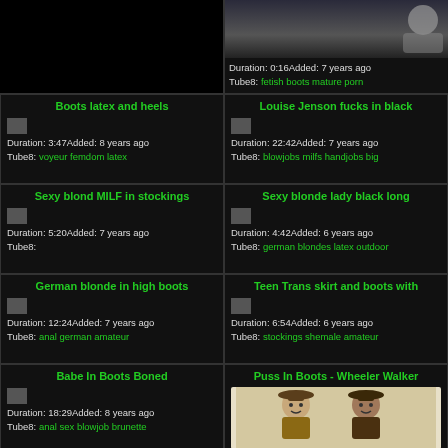[Figure (screenshot): Video thumbnail dark/black on left top]
[Figure (screenshot): Video thumbnail showing dark scene]
Duration: 0:16Added: 7 years ago
Tube8: fetish boots mature porn
Boots latex and heels
Duration: 3:47Added: 8 years ago
Tube8: voyeur femdom latex
Louise Jenson fucks in black
Duration: 22:42Added: 7 years ago
Tube8: blowjobs milfs handjobs big
Sexy blond MILF in stockings
Duration: 5:20Added: 7 years ago
Tube8:
Sexy blonde lady black long
Duration: 4:42Added: 6 years ago
Tube8: german blondes latex outdoor
German blonde in high boots
Duration: 12:24Added: 7 years ago
Tube8: anal german amateur
Teen Trans skirt and boots with
Duration: 6:54Added: 6 years ago
Tube8: stockings shemale amateur
Babe In Boots Boned
Duration: 18:29Added: 8 years ago
Tube8: anal sex blowjob brunette
Puss In Boots - Wheeler Walker
[Figure (screenshot): Cowboy characters illustration for Puss In Boots Wheeler Walker video]